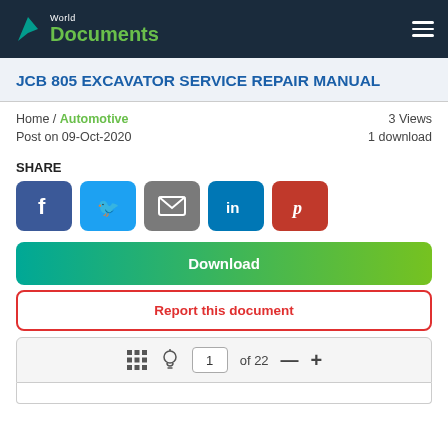World Documents
JCB 805 EXCAVATOR SERVICE REPAIR MANUAL
Home / Automotive    3 Views
Post on 09-Oct-2020    1 download
SHARE
[Figure (other): Social share buttons: Facebook, Twitter, Email, LinkedIn, Pinterest]
Download
Report this document
1 of 22